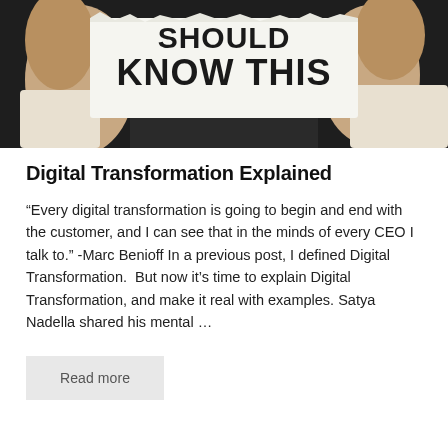[Figure (photo): Person in dark clothing holding up a torn paper sign with bold text reading 'KNOW THIS', hands visible on both sides of the sign]
Digital Transformation Explained
“Every digital transformation is going to begin and end with the customer, and I can see that in the minds of every CEO I talk to.” -Marc Benioff In a previous post, I defined Digital Transformation.  But now it’s time to explain Digital Transformation, and make it real with examples. Satya Nadella shared his mental …
Read more